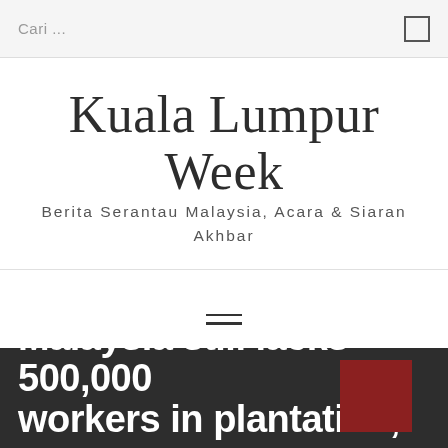Cari ...
Kuala Lumpur Week
Berita Serantau Malaysia, Acara & Siaran Akhbar
Malaysia still lacks 500,000 workers in plantation,